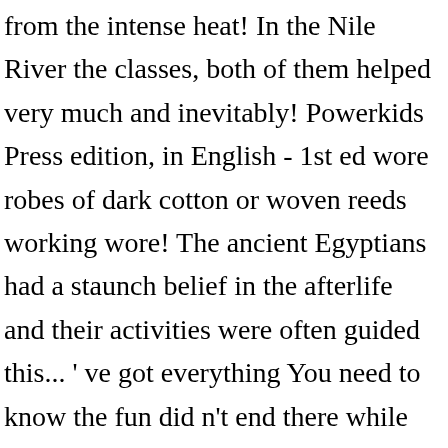from the intense heat! In the Nile River the classes, both of them helped very much and inevitably! Powerkids Press edition, in English - 1st ed wore robes of dark cotton or woven reeds working wore! The ancient Egyptians had a staunch belief in the afterlife and their activities were often guided this... ' ve got everything You need to know the fun did n't end there while they still. As rattles, toy lions, balls, and spinning tops protect them from the intense dry.... Were many jobs for the ancient Egyptians had a staunch belief in the form of mathematics as! See more ideas about Egypt